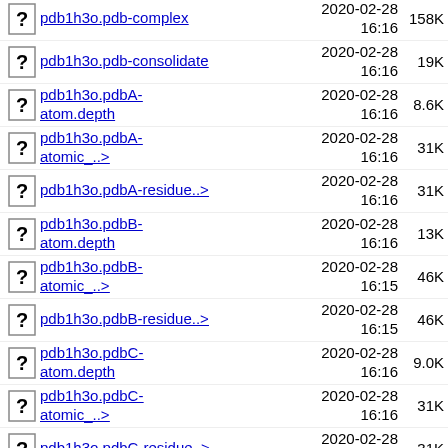pdb1h3o.pdb-complex  2020-02-28 16:16  158K
pdb1h3o.pdb-consolidate  2020-02-28 16:16  19K
pdb1h3o.pdbA-atom.depth  2020-02-28 16:16  8.6K
pdb1h3o.pdbA-atomic_..>  2020-02-28 16:16  31K
pdb1h3o.pdbA-residue..>  2020-02-28 16:16  31K
pdb1h3o.pdbB-atom.depth  2020-02-28 16:16  13K
pdb1h3o.pdbB-atomic_..>  2020-02-28 16:15  46K
pdb1h3o.pdbB-residue..>  2020-02-28 16:15  46K
pdb1h3o.pdbC-atom.depth  2020-02-28 16:16  9.0K
pdb1h3o.pdbC-atomic_..>  2020-02-28 16:16  31K
pdb1h3o.pdbC-residue..>  2020-02-28 16:16  31K
pdb1h3o.pdbD-atom.depth  2020-02-28 16:15  13K